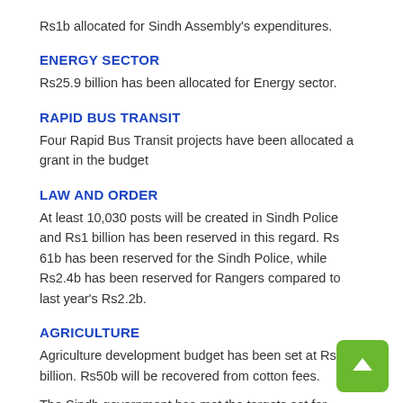Rs1b allocated for Sindh Assembly's expenditures.
ENERGY SECTOR
Rs25.9 billion has been allocated for Energy sector.
RAPID BUS TRANSIT
Four Rapid Bus Transit projects have been allocated a grant in the budget
LAW AND ORDER
At least 10,030 posts will be created in Sindh Police and Rs1 billion has been reserved in this regard. Rs 61b has been reserved for the Sindh Police, while Rs2.4b has been reserved for Rangers compared to last year's Rs2.2b.
AGRICULTURE
Agriculture development budget has been set at Rs4.5 billion. Rs50b will be recovered from cotton fees.
The Sindh government has met the targets set for 2014-15 in respect of tax revenues. New target set at Rs126 billion. The minister claims